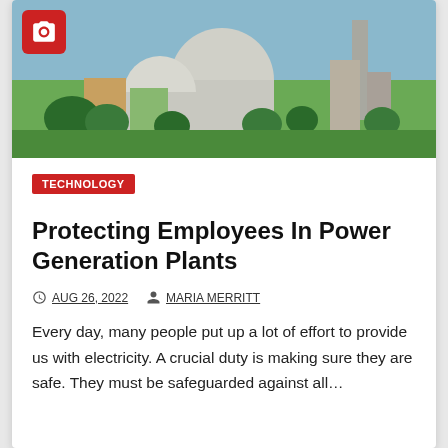[Figure (photo): Photograph of a nuclear power generation plant with large domes, buildings, and trees in the foreground under an overcast sky. A camera icon badge is visible in the top-left corner.]
TECHNOLOGY
Protecting Employees In Power Generation Plants
AUG 26, 2022   MARIA MERRITT
Every day, many people put up a lot of effort to provide us with electricity. A crucial duty is making sure they are safe. They must be safeguarded against all…